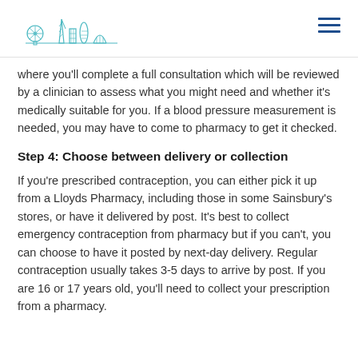London pharmacy logo and navigation menu
where you'll complete a full consultation which will be reviewed by a clinician to assess what you might need and whether it's medically suitable for you. If a blood pressure measurement is needed, you may have to come to pharmacy to get it checked.
Step 4: Choose between delivery or collection
If you're prescribed contraception, you can either pick it up from a Lloyds Pharmacy, including those in some Sainsbury's stores, or have it delivered by post. It's best to collect emergency contraception from pharmacy but if you can't, you can choose to have it posted by next-day delivery. Regular contraception usually takes 3-5 days to arrive by post. If you are 16 or 17 years old, you'll need to collect your prescription from a pharmacy.